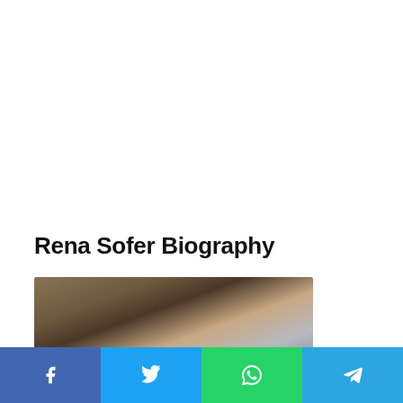Rena Sofer Biography
[Figure (photo): Top portion of a woman's face with dark hair, photographed close-up against a blurred background.]
Social sharing bar with Facebook, Twitter, WhatsApp, and Telegram buttons